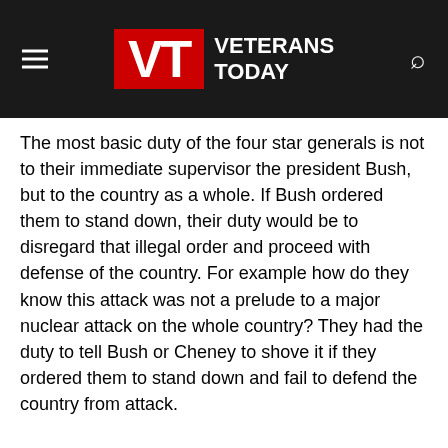Veterans Today
The most basic duty of the four star generals is not to their immediate supervisor the president Bush, but to the country as a whole. If Bush ordered them to stand down, their duty would be to disregard that illegal order and proceed with defense of the country. For example how do they know this attack was not a prelude to a major nuclear attack on the whole country? They had the duty to tell Bush or Cheney to shove it if they ordered them to stand down and fail to defend the country from attack.
yelloweye
July 3, 2018 at 1:38 am
UA93:
CBS – President Bush ordered UA93 shot down BEFORE the crash
https://www.youtube.com/watch?v=OB8JE-54Xqc